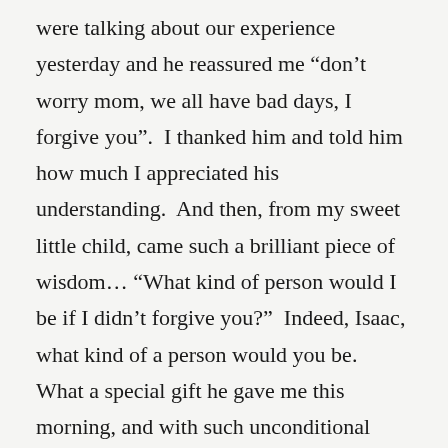were talking about our experience yesterday and he reassured me “don’t worry mom, we all have bad days, I forgive you”.  I thanked him and told him how much I appreciated his understanding.  And then, from my sweet little child, came such a brilliant piece of wisdom… “What kind of person would I be if I didn’t forgive you?”  Indeed, Isaac, what kind of a person would you be.  What a special gift he gave me this morning, and with such unconditional love.
And it just reminded me again of the amazing gift we have been given as children of God.  Last night as I lay in bed I felt just awful about my behaviour toward a child that I love and adore.  And though I prayed for forgiveness, I just couldn’t give it to myself.  But Isaac